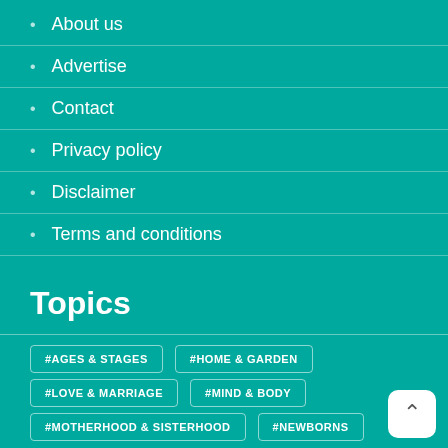About us
Advertise
Contact
Privacy policy
Disclaimer
Terms and conditions
Topics
#AGES & STAGES
#HOME & GARDEN
#LOVE & MARRIAGE
#MIND & BODY
#MOTHERHOOD & SISTERHOOD
#NEWBORNS